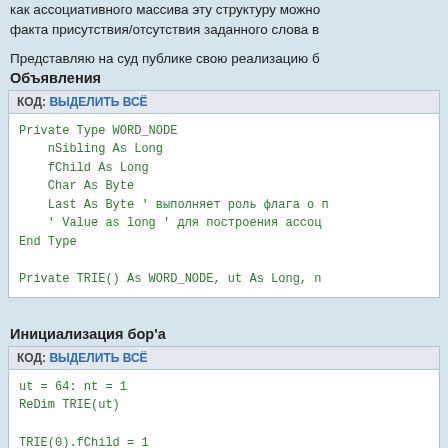как ассоциативного массива эту структуру можно факта присутствия/отсутствия заданного слова в
Представляю на суд публике свою реализацию б
Объявления
КОД: ВЫДЕЛИТЬ ВСЁ
Private Type WORD_NODE
    nSibling As Long
    fChild As Long
    Char As Byte
    Last As Byte ' выполняет роль флага о п
    ' Value as long ' для построения ассоци
End Type

Private TRIE() As WORD_NODE, ut As Long, n
Инициализация бор'а
КОД: ВЫДЕЛИТЬ ВСЁ
ut = 64: nt = 1
ReDim TRIE(ut)

TRIE(0).fChild = 1

TRIE(1).Char = 192 ' А
TRIE(1).Last = 1